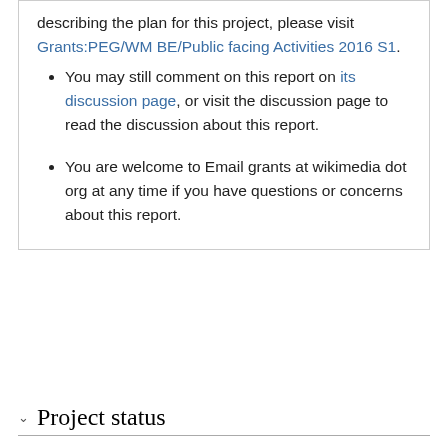describing the plan for this project, please visit Grants:PEG/WM BE/Public facing Activities 2016 S1.
You may still comment on this report on its discussion page, or visit the discussion page to read the discussion about this report.
You are welcome to Email grants at wikimedia dot org at any time if you have questions or concerns about this report.
Project status